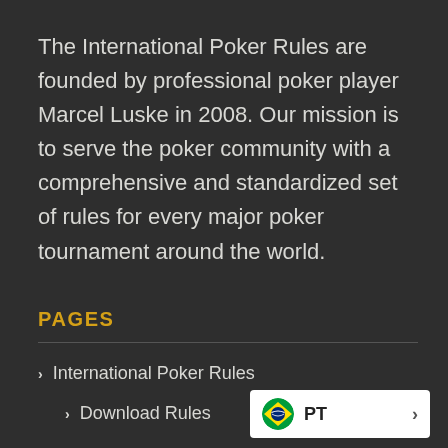The International Poker Rules are founded by professional poker player Marcel Luske in 2008. Our mission is to serve the poker community with a comprehensive and standardized set of rules for every major poker tournament around the world.
PAGES
International Poker Rules
Download Rules
[Figure (other): Brazilian flag icon with PT text and a right chevron arrow, inside a white rounded badge in the bottom right corner]